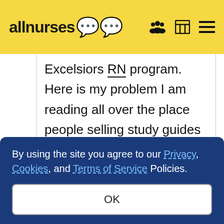allnurses
Excelsiors RN program. Here is my problem I am reading all over the place people selling study guides for the classess I need. One person on e-bay has guides that come with a money back clause should you fail a exam. I need to know from people that have been
By using the site you agree to our Privacy, Cookies, and Terms of Service Policies.
OK
this is to much time and money to leave